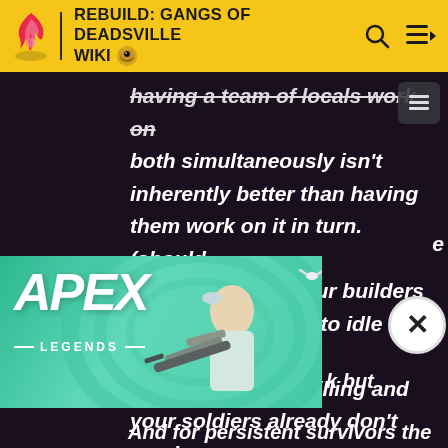REBUILD: GANGS OF DEADSVILLE WIKI
having a team of locals work on both simultaneously isn't inherently better than having them work on it in turn. (should be obvious, but your builders already don't need to idle while your soldiers are killing and your soldiers already don't need to idle while your builders are reclaiming, they just can't both
[Figure (screenshot): Apex Legends advertisement banner showing a character holding a sniper rifle against a teal/green swirling background]
k but
And for persistent survivors the